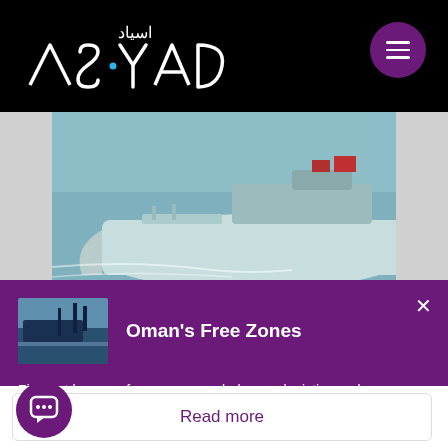[Figure (logo): ASYAD logo with Arabic text اسياد on black background header bar]
[Figure (photo): Aerial view of a large oil tanker ship at sea, greenish-blue water, white wake behind the vessel]
[Figure (photo): Thumbnail image of a port/harbor with a large cargo ship docked]
Oman's Free Zones
Find out how our free zones can help your logistics and manufacturing needs both in the region and globally
Read more